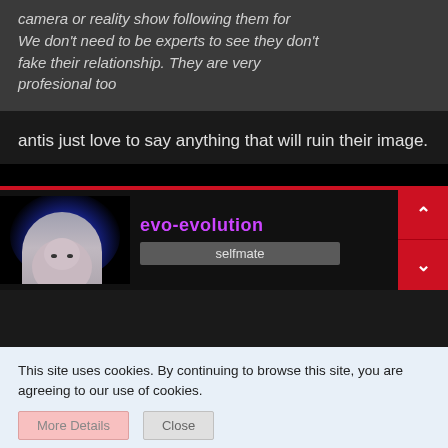camera or reality show following them for We don't need to be experts to see they don't fake their relationship. They are very profesional too
antis just love to say anything that will ruin their image.
[Figure (screenshot): Profile section for user 'evo-evolution' with avatar showing glowing blue aura around a person's face, username in purple text, 'selfmate' label in grey box, and red navigation up/down buttons on the right]
This site uses cookies. By continuing to browse this site, you are agreeing to our use of cookies.